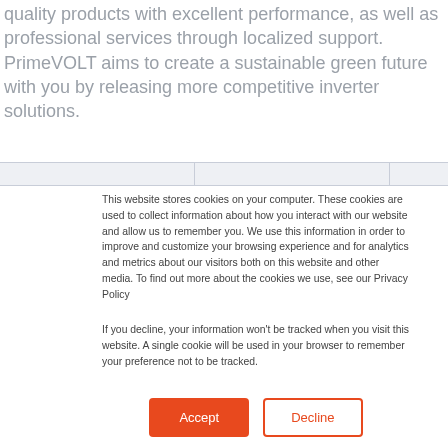quality products with excellent performance, as well as professional services through localized support. PrimeVOLT aims to create a sustainable green future with you by releasing more competitive inverter solutions.
This website stores cookies on your computer. These cookies are used to collect information about how you interact with our website and allow us to remember you. We use this information in order to improve and customize your browsing experience and for analytics and metrics about our visitors both on this website and other media. To find out more about the cookies we use, see our Privacy Policy
If you decline, your information won't be tracked when you visit this website. A single cookie will be used in your browser to remember your preference not to be tracked.